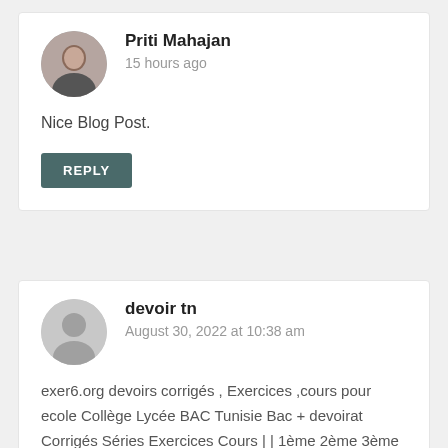Priti Mahajan
15 hours ago
Nice Blog Post.
REPLY
devoir tn
August 30, 2022 at 10:38 am
exer6.org devoirs corrigés , Exercices ,cours pour ecole Collège Lycée BAC Tunisie Bac + devoirat Corrigés Séries Exercices Cours | | 1ème 2ème 3ème 4ème 5ème 6ème année